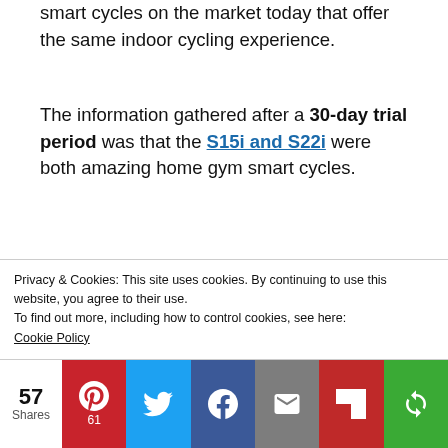smart cycles on the market today that offer the same indoor cycling experience.
The information gathered after a 30-day trial period was that the S15i and S22i were both amazing home gym smart cycles.
If you are looking for the experience of a high-end gym spin class experience, that features live-streaming energy at home, the NordicTrack S15i or S22i will give
Privacy & Cookies: This site uses cookies. By continuing to use this website, you agree to their use.
To find out more, including how to control cookies, see here:
Cookie Policy
57 Shares | Pinterest 61 | Twitter | Facebook | Email | Flipboard | Other